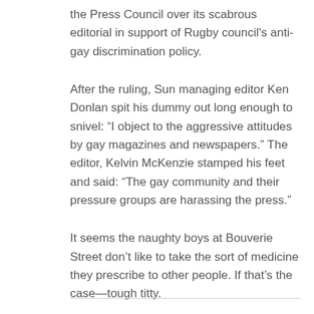the Press Council over its scabrous editorial in support of Rugby council's anti-gay discrimination policy.
After the ruling, Sun managing editor Ken Donlan spit his dummy out long enough to snivel: “I object to the aggressive attitudes by gay magazines and newspapers.” The editor, Kelvin McKenzie stamped his feet and said: “The gay community and their pressure groups are harassing the press.”
It seems the naughty boys at Bouverie Street don’t like to take the sort of medicine they prescribe to other people. If that’s the case—tough titty.